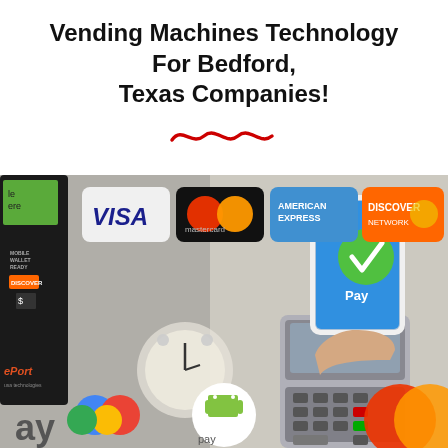Vending Machines Technology For Bedford, Texas Companies!
[Figure (photo): Composite photo showing a card payment terminal device on the left, credit card logos (Visa, Mastercard, American Express, Discover Network) across the top center, a hand holding a smartphone over a point-of-sale terminal in the center-right, and payment method logos at the bottom including Google Pay, Android Pay, and Mastercard.]